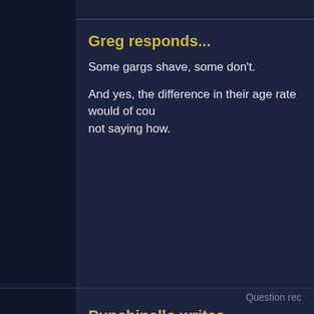Greg responds...
Some gargs shave, some don't.
And yes, the difference in their age rate would of cou... not saying how.
Question rec...
Punchinello writes...
Hello Mr. Weisman.
I don't come here often, but occasionally I'm struck b... I was browsing the questions you're fielding, and I wa... every time I visit this page. There seems to be some ... of the other." I noticed another poster make referenc... cannot find any record of your having initiated the di...
While the series was still active I saw you invoke this... emphasized the cultural shock that the gargoyles exp...